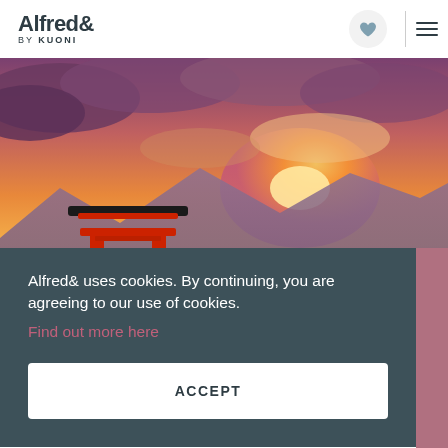[Figure (logo): Alfred& by Kuoni logo with heart icon and hamburger menu]
[Figure (photo): Scenic photo of a Japanese torii gate in silhouette against a dramatic orange and purple sunset sky with mountains in the background]
Alfred& uses cookies. By continuing, you are agreeing to our use of cookies.
Find out more here
ACCEPT